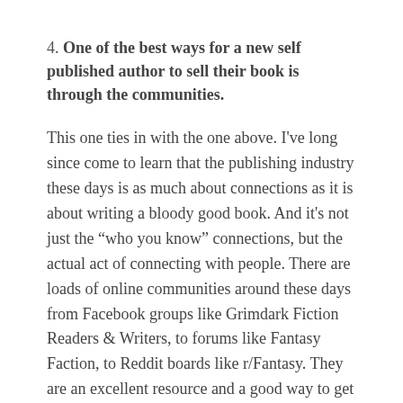4. One of the best ways for a new self published author to sell their book is through the communities.
This one ties in with the one above. I've long since come to learn that the publishing industry these days is as much about connections as it is about writing a bloody good book. And it's not just the “who you know” connections, but the actual act of connecting with people. There are loads of online communities around these days from Facebook groups like Grimdark Fiction Readers & Writers, to forums like Fantasy Faction, to Reddit boards like r/Fantasy. They are an excellent resource and a good way to get your book out there. But much more that, they are a great way to meet people and talk about the things we love... like fantasy